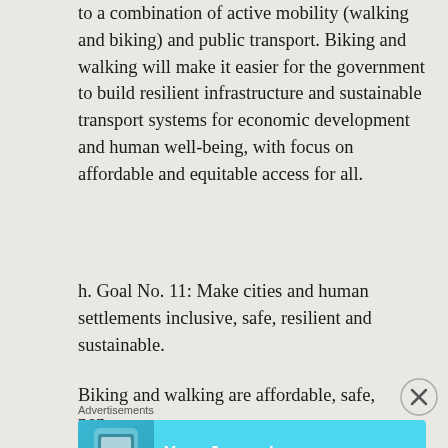to a combination of active mobility (walking and biking) and public transport. Biking and walking will make it easier for the government to build resilient infrastructure and sustainable transport systems for economic development and human well-being, with focus on affordable and equitable access for all.
h. Goal No. 11: Make cities and human settlements inclusive, safe, resilient and sustainable.
Biking and walking are affordable, safe, non-
[Figure (other): Advertisement banner for Day One journal app with cyan background, phone image, and text 'Your Journal for life' with Day One logo]